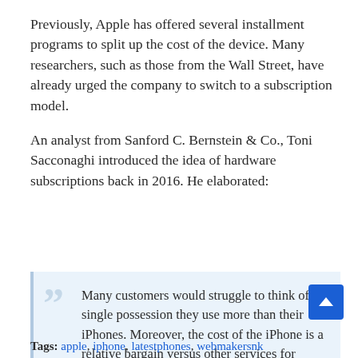Previously, Apple has offered several installment programs to split up the cost of the device. Many researchers, such as those from the Wall Street, have already urged the company to switch to a subscription model.
An analyst from Sanford C. Bernstein & Co., Toni Sacconaghi introduced the idea of hardware subscriptions back in 2016. He elaborated:
Many customers would struggle to think of a single possession they use more than their iPhones. Moreover, the cost of the iPhone is a relative bargain versus other services for which consumers willingly pay.
Tags: apple, iphone, latestphones, webmakersnk